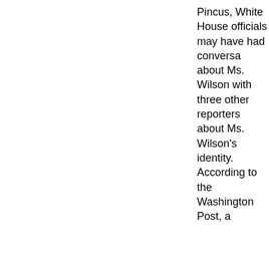Pincus, White House officials may have had conversa about Ms. Wilson with three other reporters about Ms. Wilson's identity. According to the Washington Post, a